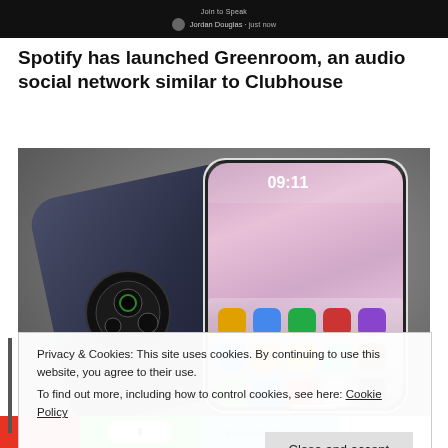[Figure (screenshot): Dark banner / video header showing a username 'Jordan Douglas' and a label 'Join to Speak' in a dark social audio interface]
Spotify has launched Greenroom, an audio social network similar to Clubhouse
[Figure (photo): A dark blue/black smartphone (Huawei Mate 30 or similar) shown from the back and front, with a circular camera module on back and a flower-themed wallpaper on the screen showing app icons at 09:11]
Privacy & Cookies: This site uses cookies. By continuing to use this website, you agree to their use.
To find out more, including how to control cookies, see here: Cookie Policy
Close and accept